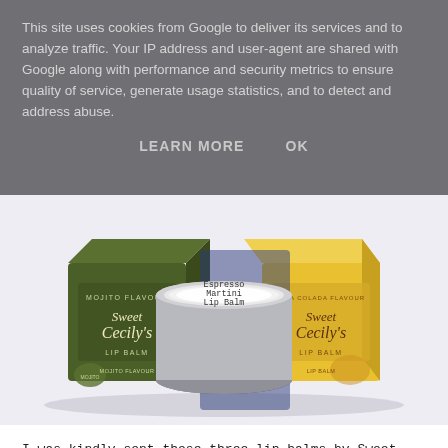This site uses cookies from Google to deliver its services and to analyze traffic. Your IP address and user-agent are shared with Google along with performance and security metrics to ensure quality of service, generate usage statistics, and to detect and address abuse.
LEARN MORE    OK
[Figure (photo): Three Sweet Cecily lip balm products on a white/grey surface: a green box (Mojito Flavour Lip Balm), a round silver tin (Espresso Martini Lip Balm), and a yellow box (Pina Colada Flavour Lip Balm).]
I was kindly sent these three lip balms by Sweet Cecily, for those of you that don't know Sweet Cecily is a handmade brand selling natural skincare